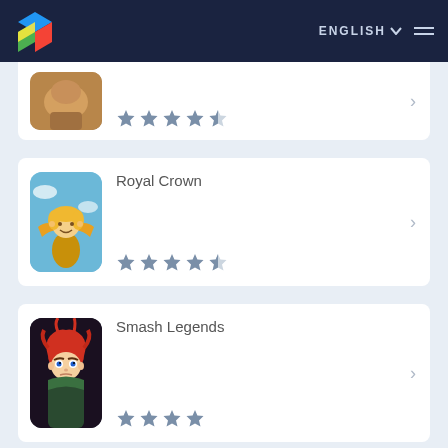BlueStacks logo | ENGLISH | menu
[Figure (screenshot): Partial app card with fantasy game icon (top of character) and 4.5 star rating]
Royal Crown
[Figure (screenshot): Royal Crown app icon showing anime character flying in sky]
Smash Legends
[Figure (screenshot): Smash Legends app icon showing red-haired anime boy character]